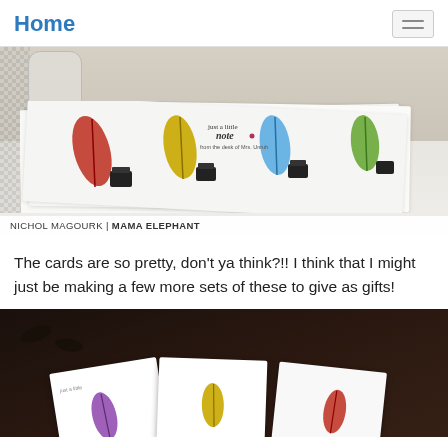Home
[Figure (photo): Photo showing colorful note cards with feather/quill designs in red, yellow, blue, and green colors fanned out on a surface with a jar of buttons in the background. Caption reads: NICHOL MAGOURK | MAMA ELEPHANT]
The cards are so pretty, don't ya think?!! I think that I might just be making a few more sets of these to give as gifts!
[Figure (photo): Photo of white note cards with colorful feather stamps (purple, yellow, red, blue) arranged on a dark brown background]